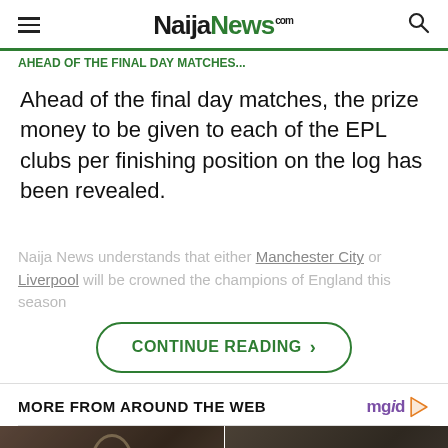NaijaNews.com
AHEAD OF THE FINAL DAY MATCHES...
Ahead of the final day matches, the prize money to be given to each of the EPL clubs per finishing position on the log has been revealed.
Naija News understands that either Manchester City or Liverpool will be crowned the champions of England this season
CONTINUE READING ›
MORE FROM AROUND THE WEB
[Figure (photo): Two dark portrait-style photos side by side at bottom of page]